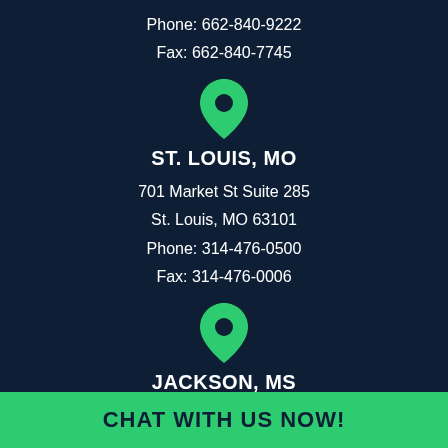Phone: 662-840-9222
Fax: 662-840-7745
[Figure (illustration): Green map pin / location marker icon]
ST. LOUIS, MO
701 Market St Suite 285
St. Louis, MO 63101
Phone: 314-476-0500
Fax: 314-476-0006
[Figure (illustration): Green map pin / location marker icon]
JACKSON, MS
125 South Congress Street
CHAT WITH US NOW!